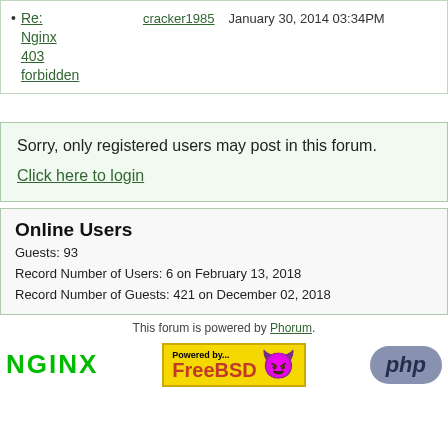Re: Nginx 403 forbidden — cracker1985 — January 30, 2014 03:34PM
Sorry, only registered users may post in this forum.
Click here to login
Online Users
Guests: 93
Record Number of Users: 6 on February 13, 2018
Record Number of Guests: 421 on December 02, 2018
This forum is powered by Phorum.
[Figure (logo): NGINX logo, FreeBSD Powered by badge with devil mascot, PHP logo]